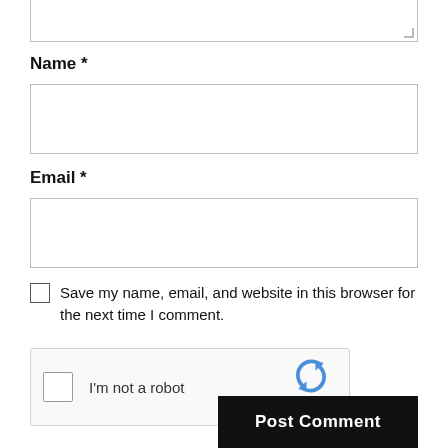[Figure (screenshot): Top portion of a textarea input field (bottom part visible, with resize handle)]
Name *
[Figure (screenshot): Name text input field (empty, with border)]
Email *
[Figure (screenshot): Email text input field (empty, with border)]
Save my name, email, and website in this browser for the next time I comment.
[Figure (screenshot): reCAPTCHA widget with checkbox labeled 'I'm not a robot', reCAPTCHA logo, Privacy and Terms links]
Post Comment